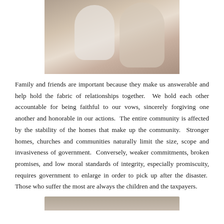[Figure (photo): Wedding or celebration photo showing people embracing, one holding flowers, cropped at top of page]
Family and friends are important because they make us answerable and help hold the fabric of relationships together.  We hold each other accountable for being faithful to our vows, sincerely forgiving one another and honorable in our actions.  The entire community is affected by the stability of the homes that make up the community.  Stronger homes, churches and communities naturally limit the size, scope and invasiveness of government.  Conversely, weaker commitments, broken promises, and low moral standards of integrity, especially promiscuity, requires government to enlarge in order to pick up after the disaster.  Those who suffer the most are always the children and the taxpayers.
[Figure (photo): Partial photo visible at bottom of page]